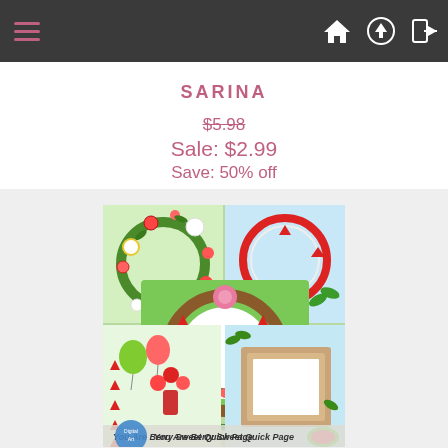Navigation bar with hamburger menu and icons
SARINA
$5.98
Sale: $2.99
Save: 50% off
[Figure (photo): You Are Berry Sweet Quick Page - scrapbooking digital product preview image showing multiple photo frames decorated with strawberries, flowers, and green foliage on colorful backgrounds.]